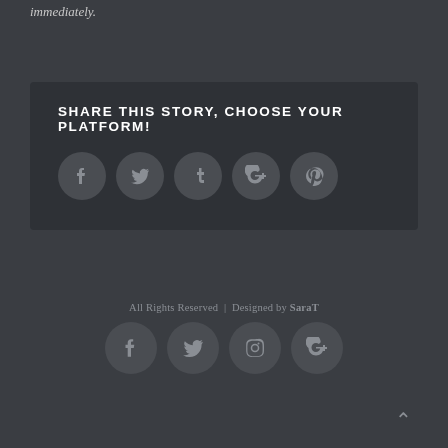immediately.
SHARE THIS STORY, CHOOSE YOUR PLATFORM!
[Figure (infographic): Five social media icon circles: Facebook (f), Twitter (bird), Tumblr (t), Google+ (g+), Pinterest (p)]
All Rights Reserved | Designed by SaraT
[Figure (infographic): Four social media icon circles in footer: Facebook (f), Twitter (bird), Instagram (camera), Google+ (g+)]